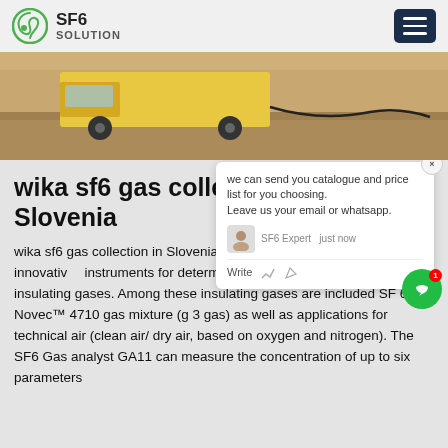SF6 SOLUTION
[Figure (photo): Outdoor photo of a yellow truck/vehicle on a paved area with equipment cables, sandy/earthy background]
wika sf6 gas collection Slovenia
wika sf6 gas collection in SloveniaT... 11 SF6 Gas Analyzer are innovative instruments for determining the quality of different insulating gases. Among these insulating gases are included SF 6, Novec™ 4710 gas mixture (g 3 gas) as well as applications for technical air (clean air/dry air, based on oxygen and nitrogen). The SF6 Gas analyst GA11 can measure the concentration of up to six parameters